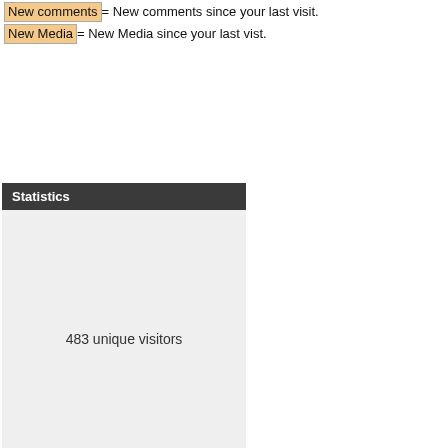New comments = New comments since your last visit.
New Media = New Media since your last vist.
Statistics
483 unique visitors